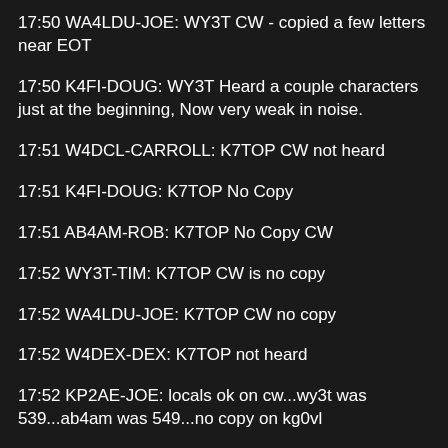17:50 WA4LDU-JOE: WY3T CW - copied a few letters near EOT
17:50 K4FI-DOUG: WY3T Heard a couple characters just at the beginning, Now very weak in noise.
17:51 W4DCL-CARROLL: K7TOP CW not heard
17:51 K4FI-DOUG: K7TOP No Copy
17:51 AB4AM-ROB: K7TOP No Copy CW
17:52 WY3T-TIM: K7TOP CW is no copy
17:52 WA4LDU-JOE: K7TOP CW no copy
17:52 W4DEX-DEX: K7TOP not heard
17:52 KP2AE-JOE: locals ok on cw...wy3t was 539...ab4am was 549...no copy on kg0vl
17:52 W4DEX-DEX: KG0VL 579 at start, good copy